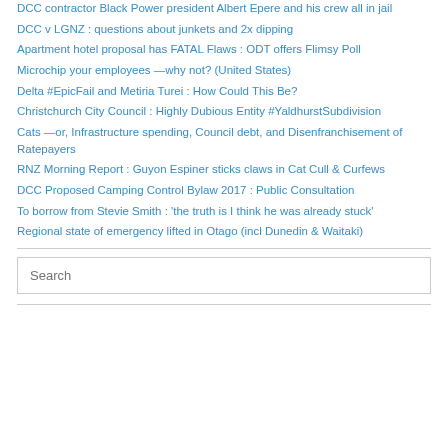DCC contractor Black Power president Albert Epere and his crew all in jail
DCC v LGNZ : questions about junkets and 2x dipping
Apartment hotel proposal has FATAL Flaws : ODT offers Flimsy Poll
Microchip your employees —why not? (United States)
Delta #EpicFail and Metiria Turei : How Could This Be?
Christchurch City Council : Highly Dubious Entity #YaldhurstSubdivision
Cats —or, Infrastructure spending, Council debt, and Disenfranchisement of Ratepayers
RNZ Morning Report : Guyon Espiner sticks claws in Cat Cull & Curfews
DCC Proposed Camping Control Bylaw 2017 : Public Consultation
To borrow from Stevie Smith : 'the truth is I think he was already stuck'
Regional state of emergency lifted in Otago (incl Dunedin & Waitaki)